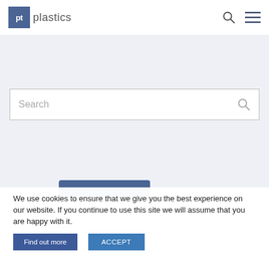pt plastics
[Figure (screenshot): Search bar with search icon on a light blue-gray background]
We use cookies to ensure that we give you the best experience on our website. If you continue to use this site we will assume that you are happy with it.
Find out more   ACCEPT